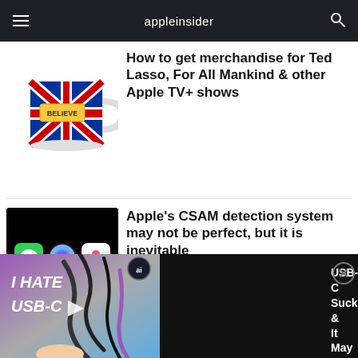appleinsider
[Figure (photo): A Ted Lasso 'Believe' mug with Union Jack design]
How to get merchandise for Ted Lasso, For All Mankind & other Apple TV+ shows
[Figure (screenshot): Black background with Messages, Siri, and Photos app icons]
Apple's CSAM detection system may not be perfect, but it is inevitable
[Figure (screenshot): Video thumbnail: I HATE USB-C with cables image]
USB-C Sucks & It May Not Be Getting Any Better Soon